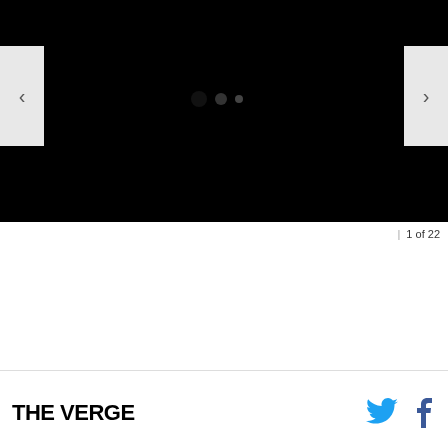[Figure (screenshot): Main image slideshow area with black background, left and right navigation arrows (< and >), and three dots indicator (large dot, medium dot, small dot) showing slide position]
1 of 22
[Figure (screenshot): Thumbnail strip with left and right navigation arrows and one selected thumbnail with blue border]
[Figure (logo): THE VERGE logo in bold black uppercase letters]
[Figure (other): Twitter bird icon in blue and Facebook f icon in blue]